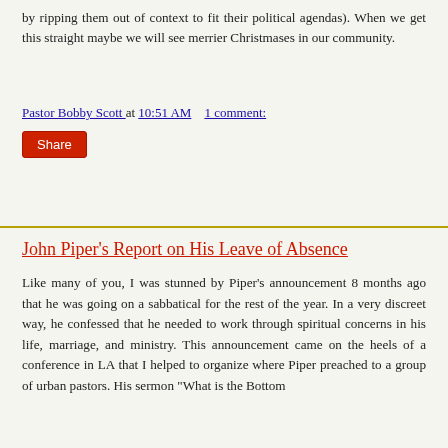by ripping them out of context to fit their political agendas). When we get this straight maybe we will see merrier Christmases in our community.
Pastor Bobby Scott at 10:51 AM    1 comment:
Share
John Piper's Report on His Leave of Absence
Like many of you, I was stunned by Piper's announcement 8 months ago that he was going on a sabbatical for the rest of the year. In a very discreet way, he confessed that he needed to work through spiritual concerns in his life, marriage, and ministry. This announcement came on the heels of a conference in LA that I helped to organize where Piper preached to a group of urban pastors. His sermon "What is the Bottom